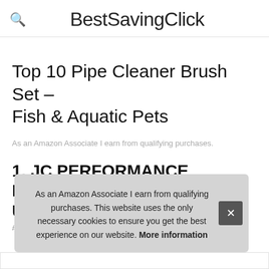BestSavingClick
Top 10 Pipe Cleaner Brush Set – Fish & Aquatic Pets
As an Amazon Associate I earn from qualifying purchases.
1. JC PERFORMANCE PRODUCTS USA
#ad
As an Amazon Associate I earn from qualifying purchases. This website uses the only necessary cookies to ensure you get the best experience on our website. More information